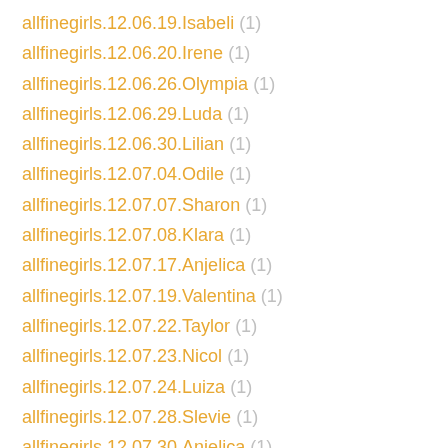allfinegirls.12.06.19.Isabeli (1)
allfinegirls.12.06.20.Irene (1)
allfinegirls.12.06.26.Olympia (1)
allfinegirls.12.06.29.Luda (1)
allfinegirls.12.06.30.Lilian (1)
allfinegirls.12.07.04.Odile (1)
allfinegirls.12.07.07.Sharon (1)
allfinegirls.12.07.08.Klara (1)
allfinegirls.12.07.17.Anjelica (1)
allfinegirls.12.07.19.Valentina (1)
allfinegirls.12.07.22.Taylor (1)
allfinegirls.12.07.23.Nicol (1)
allfinegirls.12.07.24.Luiza (1)
allfinegirls.12.07.28.Slevie (1)
allfinegirls.12.07.30.Anjelica (1)